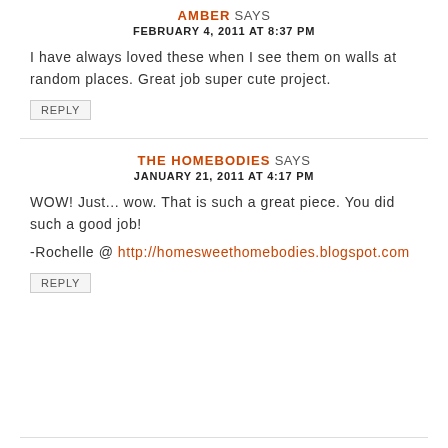AMBER SAYS
FEBRUARY 4, 2011 AT 8:37 PM
I have always loved these when I see them on walls at random places. Great job super cute project.
REPLY
THE HOMEBODIES SAYS
JANUARY 21, 2011 AT 4:17 PM
WOW! Just... wow. That is such a great piece. You did such a good job!
-Rochelle @ http://homesweethomebodies.blogspot.com
REPLY